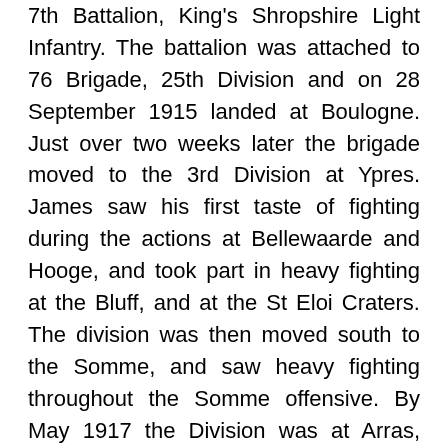7th Battalion, King's Shropshire Light Infantry. The battalion was attached to 76 Brigade, 25th Division and on 28 September 1915 landed at Boulogne. Just over two weeks later the brigade moved to the 3rd Division at Ypres. James saw his first taste of fighting during the actions at Bellewaarde and Hooge, and took part in heavy fighting at the Bluff, and at the St Eloi Craters. The division was then moved south to the Somme, and saw heavy fighting throughout the Somme offensive. By May 1917 the Division was at Arras, and saw heavy fighting there before moving north to Ypres, to take part in the Passchendaele offensive. On 26 September 1917 the 7th KSLI took part in an assault on Polygon Wood, helping gain almost 2,500 yards of ground from the Germans before being relieved after suffering heavy casualties. James had been killed during the attack that day.